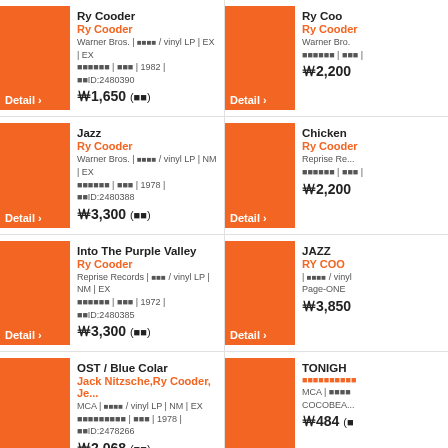Ry Cooder | Warner Bros. | vinyl LP | EX | EX | 1982 | ID:2480390 | ￦1,650 (포함)
Ry Cooder | Warner Bros. | ￦2,200
Jazz | Ry Cooder | Warner Bros. | vinyl LP | NM | EX | 1978 | ID:2480388 | ￦3,300 (포함)
Chicken... | Ry Cooder | Reprise Records | ￦2,200
Into The Purple Valley | Ry Cooder | Reprise Records | vinyl LP | NM | EX | 1972 | ID:2480385 | ￦3,300 (포함)
JAZZ | RY COO... | vinyl | Page-ONE | ￦3,850
OST / Blue Colar | Jack Nitzsche,Ry Cooder, Je... | MCA | vinyl LP | NM | EX | 1978 | ID:2478266 | ￦2,068 (포함)
TONIGHT | 한국어텍스트 | MCA | COCOBEA... | ￦484 (포
CHICKEN SKIN MUSIC | RY COODER | vinyl LP | EX | EX | Page-ONE | ID:2474674
SHOW T... | RY COO... | vinyl | Page-ONE